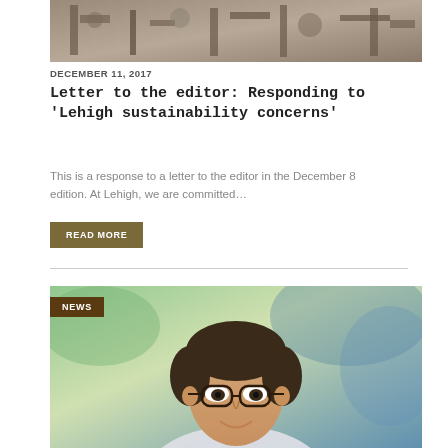[Figure (photo): Black and white industrial machinery photo at top of article]
DECEMBER 11, 2017
Letter to the editor: Responding to ‘Lehigh sustainability concerns’
This is a response to a letter to the editor in the December 8 edition. At Lehigh, we are committed…
READ MORE
[Figure (photo): Photo of a young man with glasses smiling, with NEWS badge overlay]